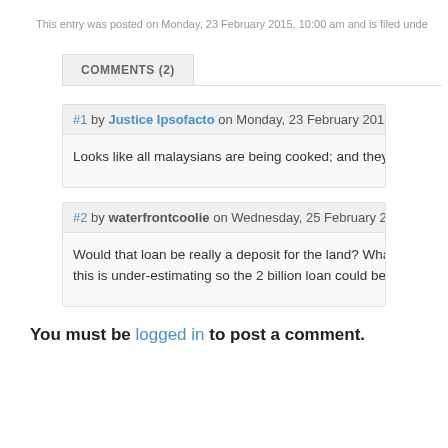This entry was posted on Monday, 23 February 2015, 10:00 am and is filed unde
COMMENTS (2)
#1 by Justice Ipsofacto on Monday, 23 February 2015 - 2:38 pm
Looks like all malaysians are being cooked; and they will be eaten soon
#2 by waterfrontcoolie on Wednesday, 25 February 2015 - 4:59 p
Would that loan be really a deposit for the land? What is the total area? this is under-estimating so the 2 billion loan could be a very good investm
You must be logged in to post a comment.